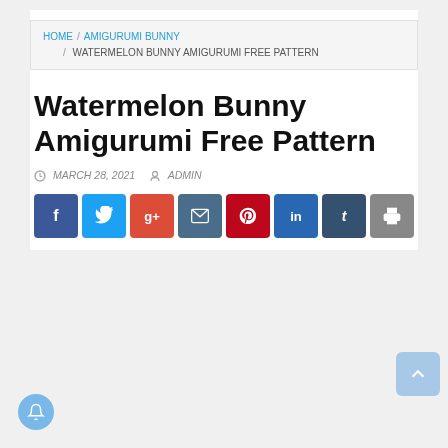HOME / AMIGURUMI BUNNY / WATERMELON BUNNY AMIGURUMI FREE PATTERN
Watermelon Bunny Amigurumi Free Pattern
MARCH 28, 2021  ADMIN
[Figure (infographic): Row of 8 social share buttons: Facebook (blue), Twitter (light blue), Google+ (red), Email (dark blue), Pinterest (dark red), LinkedIn (blue), Tumblr (dark slate), Print (gray)]